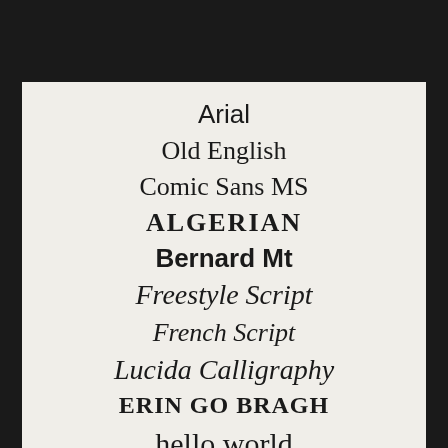[Figure (illustration): Dark top bar / background area above the document page]
Arial
Old English
Comic Sans MS
ALGERIAN
Bernard Mt
Freestyle Script
French Script
Lucida Calligraphy
ERIN GO BRAGH
hello world (partially visible)